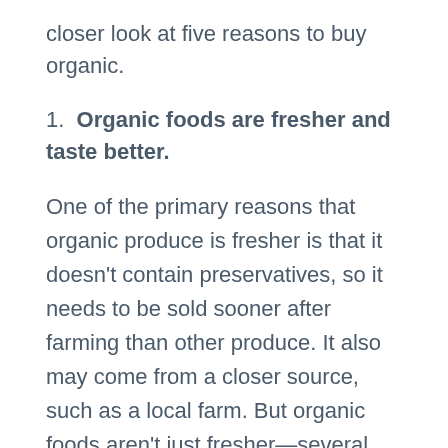closer look at five reasons to buy organic.
1. Organic foods are fresher and taste better.
One of the primary reasons that organic produce is fresher is that it doesn't contain preservatives, so it needs to be sold sooner after farming than other produce. It also may come from a closer source, such as a local farm. But organic foods aren't just fresher—several studies have also shown that they taste better than conventional foods. Though the exact reasons for organic foods' better taste aren't known, freshness and a lack of pesticides may play a significant role.